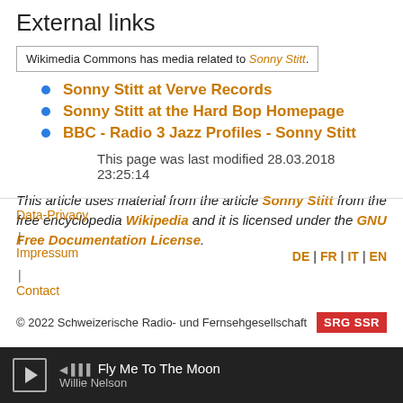External links
Wikimedia Commons has media related to Sonny Stitt.
Sonny Stitt at Verve Records
Sonny Stitt at the Hard Bop Homepage
BBC - Radio 3 Jazz Profiles - Sonny Stitt
This page was last modified 28.03.2018 23:25:14
This article uses material from the article Sonny Stitt from the free encyclopedia Wikipedia and it is licensed under the GNU Free Documentation License.
Data-Privacy | Impressum | Contact   DE | FR | IT | EN   © 2022 Schweizerische Radio- und Fernsehgesellschaft   SRG SSR
Fly Me To The Moon Willie Nelson